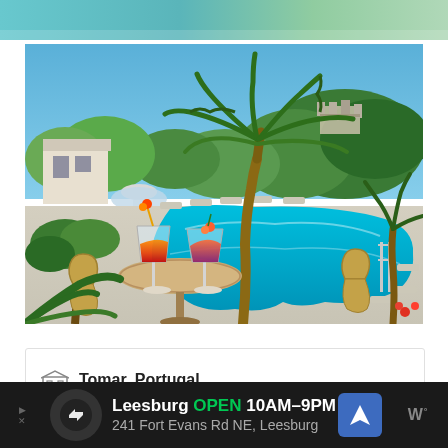[Figure (photo): Partial top strip showing a teal/green colored scene, possibly a pool or water feature]
[Figure (photo): Hotel pool area in Tomar, Portugal. A round table with two cocktail drinks in the foreground, an irregularly shaped turquoise swimming pool, wicker chairs, lounge chairs around the pool, a large palm tree in center background, lush green trees, and a hilltop castle or fortress visible in the distance against a clear blue sky.]
Tomar, Portugal
Leesburg  OPEN  10AM–9PM  241 Fort Evans Rd NE, Leesburg